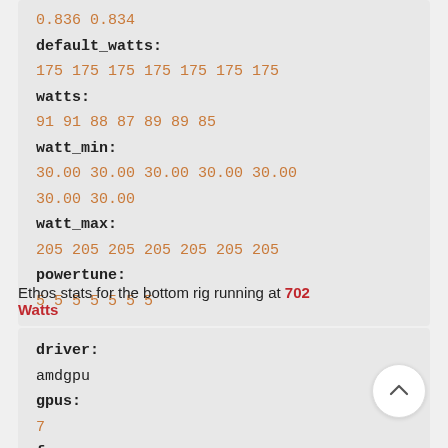0.836 0.834
default_watts:
175 175 175 175 175 175 175
watts:
91 91 88 87 89 89 85
watt_min:
30.00 30.00 30.00 30.00 30.00 30.00 30.00
watt_max:
205 205 205 205 205 205 205
powertune:
5 5 5 5 5 5 5
Ethos stats for the bottom rig running at 702 Watts
driver:
amdgpu
gpus:
7
fanrpm:
4396 4472 4451 4454 4229 4286 4249